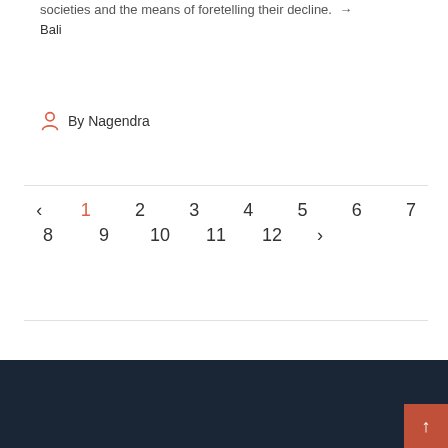societies and the means of foretelling their decline. Bali
By Nagendra
‹ 1 2 3 4 5 6 7 8 9 10 11 12 ›